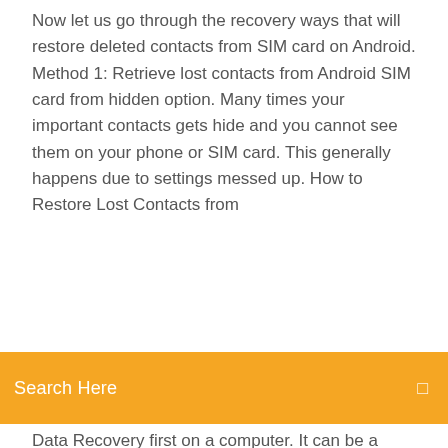Now let us go through the recovery ways that will restore deleted contacts from SIM card on Android. Method 1: Retrieve lost contacts from Android SIM card from hidden option. Many times your important contacts gets hide and you cannot see them on your phone or SIM card. This generally happens due to settings messed up. How to Restore Lost Contacts from
Search Here
Data Recovery first on a computer. It can be a Windows PC or Mac computer. Then follow the installation wizard to complete the process. Click the desktop shortcut to open the program. Click "Recover... How Can I Recover Lost Contacts and SMS from SIM Card Ready to Recover Lost Contacts/SMS from Android SIM Card In this step, you can click the " Contacts " option to view the lost and existing contacts on your Android phone. Then mark your needed ones and hit the " Recover " icon to set the output path. Soon you will restore all lost contacts to your computer without any loss. How to Recover Contacts from